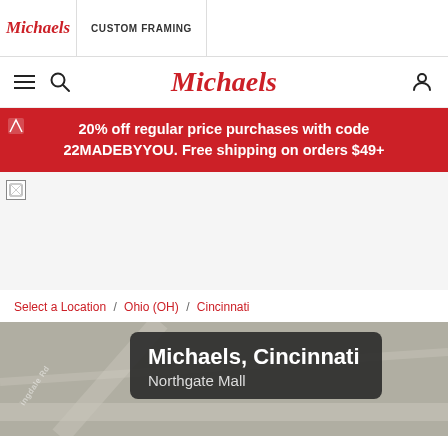Michaels | CUSTOM FRAMING
Michaels (main navigation)
20% off regular price purchases with code 22MADEBYYOU. Free shipping on orders $49+
[Figure (photo): Broken image placeholder (store/product image failed to load)]
Select a Location / Ohio (OH) / Cincinnati
Michaels, Cincinnati
Northgate Mall